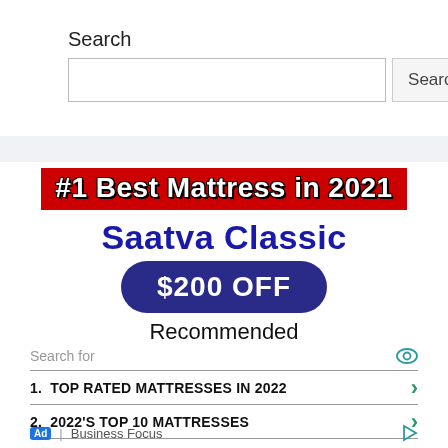Search
[Figure (screenshot): Search input box with Search button]
[Figure (infographic): Advertisement banner: #1 Best Mattress in 2021, Saatva Classic, $200 OFF, Recommended]
Search for
1.  TOP RATED MATTRESSES IN 2022
2.  2022'S TOP 10 MATTRESSES
Ad | Business Focus